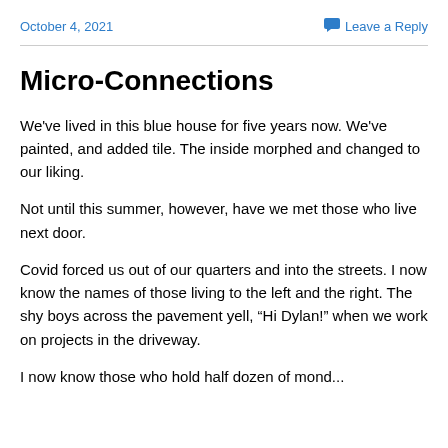October 4, 2021   Leave a Reply
Micro-Connections
We've lived in this blue house for five years now. We've painted, and added tile. The inside morphed and changed to our liking.
Not until this summer, however, have we met those who live next door.
Covid forced us out of our quarters and into the streets. I now know the names of those living to the left and the right. The shy boys across the pavement yell, “Hi Dylan!” when we work on projects in the driveway.
I now know those who hold half dozen ofmond...